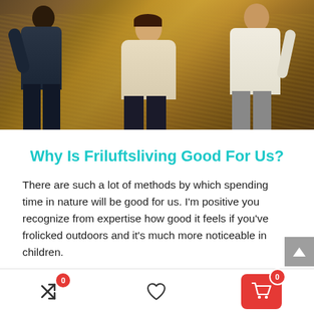[Figure (photo): Three people walking outdoors in a golden-brown field or meadow. Left person in dark plaid clothing, center person in light/beige top, right person in white shirt. Warm sunlit outdoor scene.]
Why Is Friluftsliving Good For Us?
There are such a lot of methods by which spending time in nature will be good for us. I'm positive you recognize from expertise how good it feels if you've frolicked outdoors and it's much more noticeable in children.
Listed below are a number of the well being and
[Figure (screenshot): Bottom navigation bar with shuffle/arrows icon with red badge showing 0, heart/wishlist icon, and red cart button with badge showing 0]